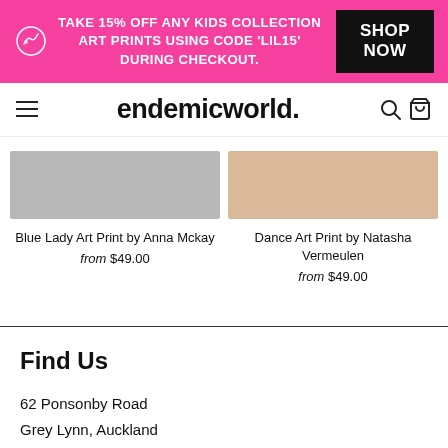TAKE 15% OFF ANY KIDS COLLECTION ART PRINTS USING CODE 'LIL15' DURING CHECKOUT. SHOP NOW
endemicworld.
[Figure (photo): Blue Lady Art Print product thumbnail - grey/blue background rectangle]
Blue Lady Art Print by Anna Mckay
from $49.00
[Figure (photo): Dance Art Print product thumbnail - beige/tan background rectangle]
Dance Art Print by Natasha Vermeulen
from $49.00
Find Us
62 Ponsonby Road
Grey Lynn, Auckland
Monday - Friday
10am - 4pm